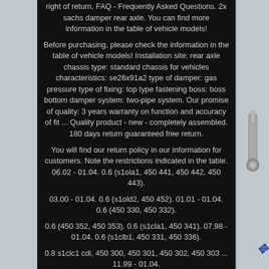right of return. FAQ - Frequently Asked Questions. 2x sachs damper rear axle. You can find more information in the table of vehicle models!
Before purchasing, please check the information in the table of vehicle models! Installation site: rear axle chassis type: standard chassis for vehicles characteristics: se26x91a2 type of damper: gas pressure type of fixing: top type fastening boss: boss bottom damper system: two-pipe system. Our promise of quality: 3 years warranty on function and accuracy of fit ... Quality product - new - completely assembled. 180 days return guaranteed free return.
You will find our return policy in our information for customers. Note the restrictions indicated in the table. 06.02 - 01.04. 0.6 (s1ola1, 450 441, 450 442, 450 443).
03.00 - 01.04. 0.6 (s1old2, 450 452). 01.01 - 01.04. 0.6 (450 330, 450 332).
0.6 (450 352, 450 353). 0.6 (s1cla1, 450 341). 07.98 - 01.04. 0.6 (s1clb1, 450 331, 450 336).
0.8 s1clc1 cdi, 450 300, 450 301, 450 302, 450 303 ... 11.99 - 01.04.